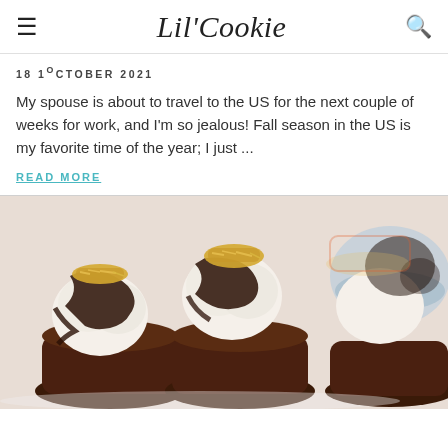Lil'Cookie
18 10CTOBER 2021
My spouse is about to travel to the US for the next couple of weeks for work, and I'm so jealous! Fall season in the US is my favorite time of the year; I just ...
READ MORE
[Figure (photo): Close-up photo of chocolate brownie cups topped with vanilla ice cream, chocolate drizzle, and golden toasted coconut flakes, arranged on a white plate with a colorful bowl blurred in the background.]